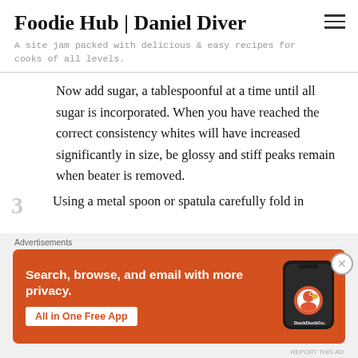Foodie Hub | Daniel Diver
A site jam packed with delicious & easy recipes for cooks of all levels.
Now add sugar, a tablespoonful at a time until all sugar is incorporated. When you have reached the correct consistency whites will have increased significantly in size, be glossy and stiff peaks remain when beater is removed.
3  Using a metal spoon or spatula carefully fold in
[Figure (screenshot): DuckDuckGo advertisement banner: orange background with text 'Search, browse, and email with more privacy. All in One Free App' and an image of a smartphone with DuckDuckGo logo.]